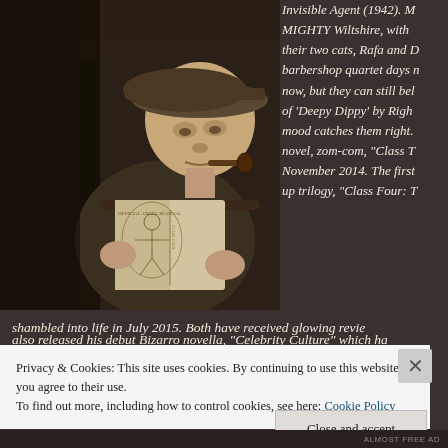[Figure (photo): Black and white / sepia toned photo of a man in a flat cap reading a book and holding a pipe]
Invisible Agent (1942). M... MIGHTY Wiltshire, with their two cats, Rafa and D... barbershop quartet days n... now, but they can still bel... of 'Deepy Dippy' by Righ... mood catches them right. novel, zom-com, "Class T... November 2014. The first... up trilogy, "Class Four: T...
shambled into life in July 2015. Both have received glowing revie...
Privacy & Cookies: This site uses cookies. By continuing to use this website, you agree to their use.
To find out more, including how to control cookies, see here: Cookie Policy
Close and accept
ALMOST FREE AD